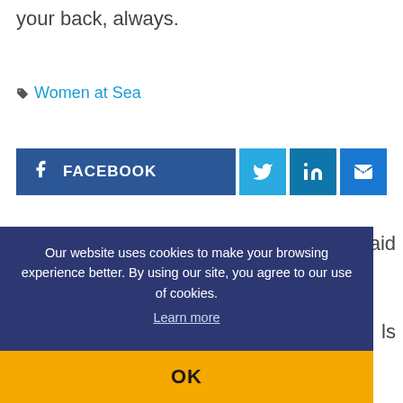your back, always.
🏷 Women at Sea
[Figure (infographic): Social share bar with Facebook, Twitter, LinkedIn, and Email buttons]
Our website uses cookies to make your browsing experience better. By using our site, you agree to our use of cookies. Learn more
OK